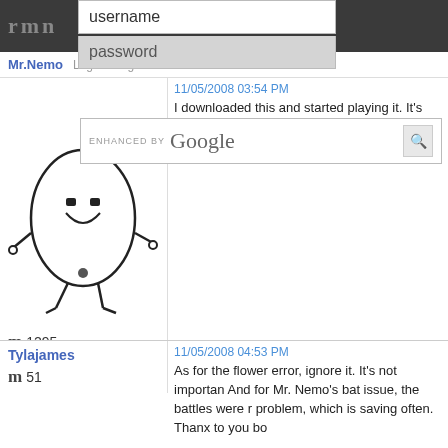rmn
username
password
Mr.Nemo
Login   Register   Recover
[Figure (illustration): Mr.Nemo avatar - cartoon white egg-shaped character with stick legs and arms, smiling]
m 1295
[Figure (screenshot): ENHANCED BY Google search bar with magnifying glass icon]
11/05/2008 03:54 PM
I downloaded this and started playing it. It's pret brought me to a grinding halt: the bats in the firs
Tylajames
m 51
11/05/2008 04:53 PM
As for the flower error, ignore it. It's not importan And for Mr. Nemo's bat issue, the battles were r problem, which is saving often. Thanx to you bo
edchuy
[Figure (photo): Two reindeer figurines facing each other on a snowy background - appears to be Rudolph the Red-Nosed Reindeer characters]
You the practice of self-promotion
m 1624
11/05/2008 06:03 PM
TJ, I have come accross an "Invalid Event" bug right aftermentioning the fighter and Valencous.